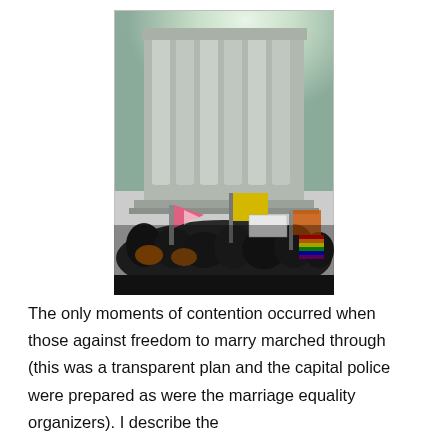[Figure (photo): A crowd of protesters gathered in front of a large government building with tall columns. People are holding colorful flags and signs including a pink triangle flag, yellow flag, and a rainbow flag. The sky is bright with lens flare.]
The only moments of contention occurred when those against freedom to marry marched through (this was a transparent plan and the capital police were prepared as were the marriage equality organizers). I describe the